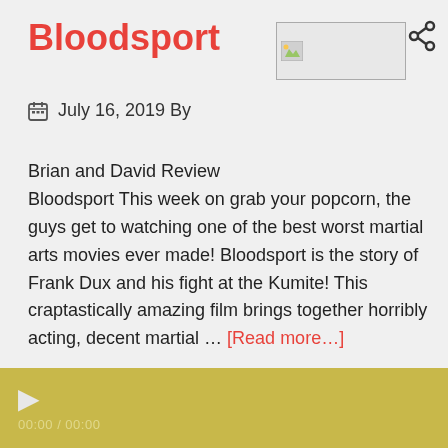Bloodsport
[Figure (screenshot): Share icon (network share symbol) top right corner]
[Figure (photo): Image placeholder box with small thumbnail icon]
🗓 July 16, 2019 By
Brian and David Review Bloodsport This week on grab your popcorn, the guys get to watching one of the best worst martial arts movies ever made! Bloodsport is the story of Frank Dux and his fight at the Kumite! This craptastically amazing film brings together horribly acting, decent martial ... [Read more…]
[Figure (screenshot): Audio player bar with play button and time display 00:00 / 00:00 on a golden/olive background]